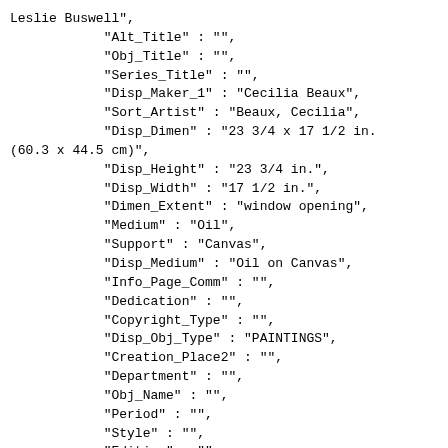Leslie Buswell",
            "Alt_Title" : "",
            "Obj_Title" : "",
            "Series_Title" : "",
            "Disp_Maker_1" : "Cecilia Beaux",
            "Sort_Artist" : "Beaux, Cecilia",
            "Disp_Dimen" : "23 3/4 x 17 1/2 in. (60.3 x 44.5 cm)",
            "Disp_Height" : "23 3/4 in.",
            "Disp_Width" : "17 1/2 in.",
            "Dimen_Extent" : "window opening",
            "Medium" : "Oil",
            "Support" : "Canvas",
            "Disp_Medium" : "Oil on Canvas",
            "Info_Page_Comm" : "",
            "Dedication" : "",
            "Copyright_Type" : "",
            "Disp_Obj_Type" : "PAINTINGS",
            "Creation_Place2" : "",
            "Department" : "",
            "Obj_Name" : "",
            "Period" : "",
            "Style" : "",
            "Edition" : "",
            "Curator" : "", "Images": [  {
            "ImagePath" :
"https://webkiosk.gallerysystems.com/Media/images/84-P-296.jpg",
            "ThumbnailPath" :
"https://webkiosk.gallerysystems.com/Media/Thumbnails/8